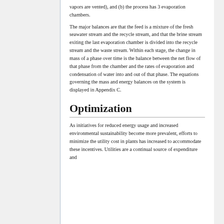vapors are vented), and (b) the process has 3 evaporation chambers.
The major balances are that the feed is a mixture of the fresh seawater stream and the recycle stream, and that the brine stream exiting the last evaporation chamber is divided into the recycle stream and the waste stream. Within each stage, the change in mass of a phase over time is the balance between the net flow of that phase from the chamber and the rates of evaporation and condensation of water into and out of that phase. The equations governing the mass and energy balances on the system is displayed in Appendix C.
Optimization
As initiatives for reduced energy usage and increased environmental sustainability become more prevalent, efforts to minimize the utility cost in plants has increased to accommodate these incentives. Utilities are a continual source of expenditure and